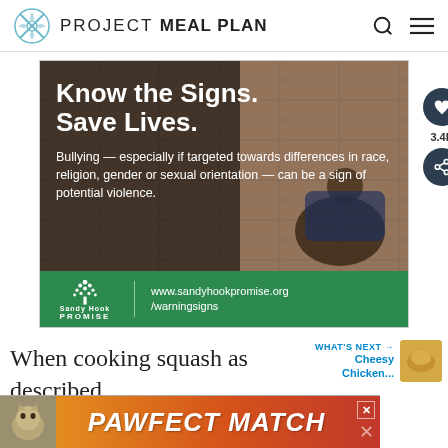PROJECT meal plan
[Figure (screenshot): Advertisement banner: Sandy Hook Promise 'Know the Signs. Save Lives.' ad with person sitting against wall, and green bar with website www.sandyhookpromise.org/warningsigns]
When cooking squash as described into rings), I cooked my squash for nearly 45 mi...
[Figure (screenshot): Bottom advertisement banner: 'PAWFECT MATCH' with cat photo on orange/red gradient background]